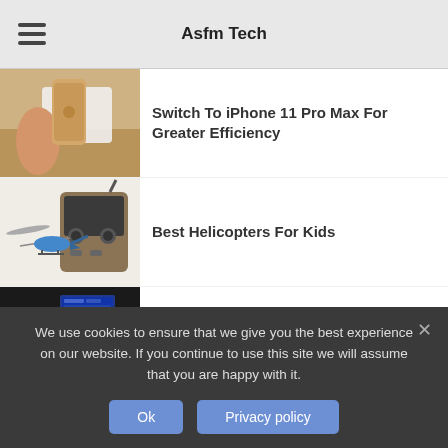Asfm Tech
[Figure (photo): Hand holding a rose-gold iPhone against a white background on a wooden surface]
Switch To iPhone 11 Pro Max For Greater Efficiency
[Figure (photo): RC helicopter and remote control transmitter]
Best Helicopters For Kids
[Figure (photo): Toyota car dashboard interior with touchscreen display (partially visible)]
We use cookies to ensure that we give you the best experience on our website. If you continue to use this site we will assume that you are happy with it.
Ok
Privacy policy